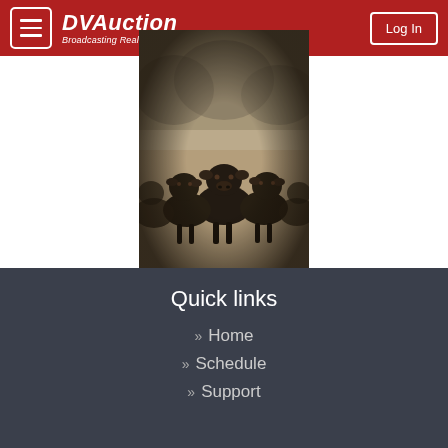DVAuction — Broadcasting Real-Time Auctions
[Figure (photo): Black and white/sepia-toned photograph of a group of beef cattle (likely Angus/black cattle) facing forward in a field, with trees in the soft-focus background. Vignette effect on edges.]
Quick links
Home
Schedule
Support